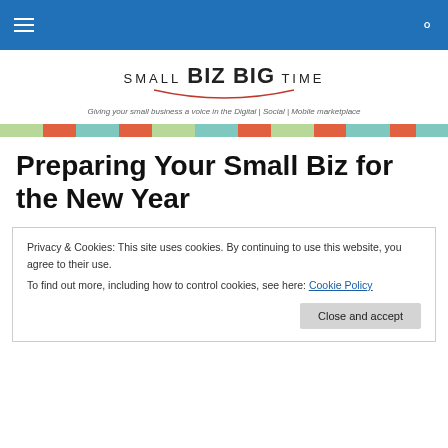Small Biz Big Time — navigation header bar
[Figure (logo): Small Biz Big Time logo with tagline: Giving your small business a voice in the Digital | Social | Mobile marketplace]
[Figure (infographic): Color bar strip with alternating light green, red/orange, and light blue/teal rectangular segments]
Preparing Your Small Biz for the New Year
Privacy & Cookies: This site uses cookies. By continuing to use this website, you agree to their use.
To find out more, including how to control cookies, see here: Cookie Policy
Close and accept